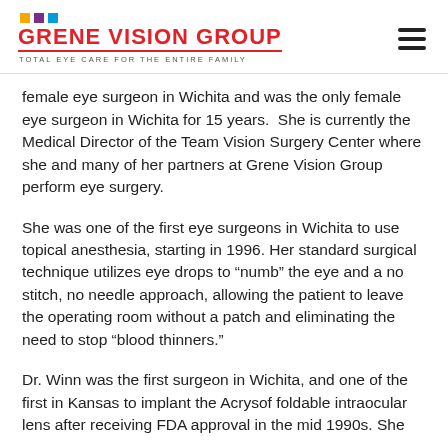GRENE VISION GROUP — TOTAL EYE CARE FOR THE ENTIRE FAMILY
female eye surgeon in Wichita and was the only female eye surgeon in Wichita for 15 years.  She is currently the Medical Director of the Team Vision Surgery Center where she and many of her partners at Grene Vision Group perform eye surgery.
She was one of the first eye surgeons in Wichita to use topical anesthesia, starting in 1996. Her standard surgical technique utilizes eye drops to “numb” the eye and a no stitch, no needle approach, allowing the patient to leave the operating room without a patch and eliminating the need to stop “blood thinners.”
Dr. Winn was the first surgeon in Wichita, and one of the first in Kansas to implant the Acrysof foldable intraocular lens after receiving FDA approval in the mid 1990s. She